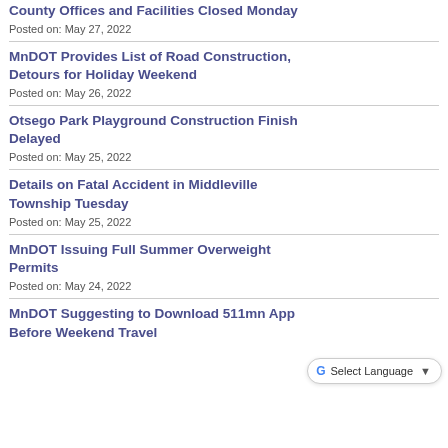County Offices and Facilities Closed Monday
Posted on: May 27, 2022
MnDOT Provides List of Road Construction, Detours for Holiday Weekend
Posted on: May 26, 2022
Otsego Park Playground Construction Finish Delayed
Posted on: May 25, 2022
Details on Fatal Accident in Middleville Township Tuesday
Posted on: May 25, 2022
MnDOT Issuing Full Summer Overweight Permits
Posted on: May 24, 2022
MnDOT Suggesting to Download 511mn App Before Weekend Travel